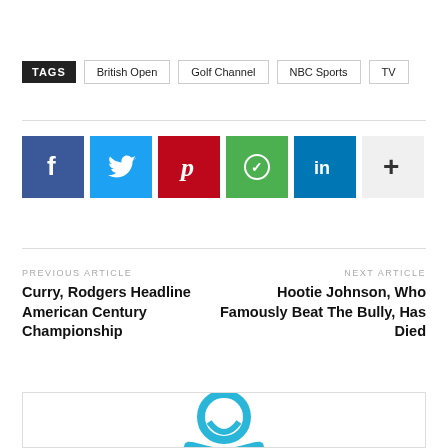TAGS  British Open  Golf Channel  NBC Sports  TV
[Figure (infographic): Social media share buttons: Facebook (blue), Twitter (light blue), Pinterest (red), WhatsApp (green), LinkedIn (dark blue), More (gray plus sign)]
PREVIOUS ARTICLE
Curry, Rodgers Headline American Century Championship
NEXT ARTICLE
Hootie Johnson, Who Famously Beat The Bully, Has Died
[Figure (illustration): Partial view of a circular user/author avatar icon in teal/light blue color at the bottom of the page]